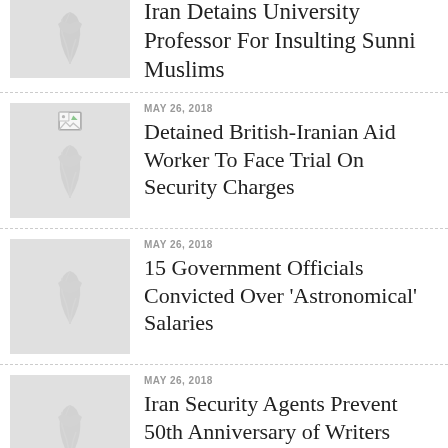[Figure (illustration): Thumbnail placeholder with leaf/plant watermark icon, first news item (partially visible at top)]
Iran Detains University Professor For Insulting Sunni Muslims
[Figure (illustration): Thumbnail placeholder with broken image icon and leaf/plant watermark]
MAY 26, 2018
Detained British-Iranian Aid Worker To Face Trial On Security Charges
[Figure (illustration): Thumbnail placeholder with leaf/plant watermark icon]
MAY 26, 2018
15 Government Officials Convicted Over 'Astronomical' Salaries
[Figure (illustration): Thumbnail placeholder with leaf/plant watermark icon]
MAY 26, 2018
Iran Security Agents Prevent 50th Anniversary of Writers Association